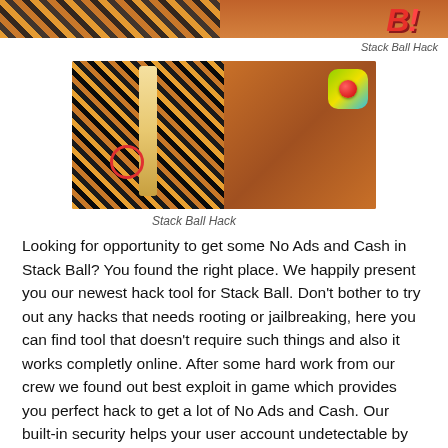[Figure (screenshot): Top banner image strip showing Stack Ball game with tiger-stripe pattern on left and red logo text on right]
Stack Ball Hack
[Figure (screenshot): Stack Ball 3D game promotional image showing the game stack on the left side and the Stack Ball 3D logo/title on the right with app icon]
Stack Ball Hack
Looking for opportunity to get some No Ads and Cash in Stack Ball? You found the right place. We happily present you our newest hack tool for Stack Ball. Don't bother to try out any hacks that needs rooting or jailbreaking, here you can find tool that doesn't require such things and also it works completly online. After some hard work from our crew we found out best exploit in game which provides you perfect hack to get a lot of No Ads and Cash. Our built-in security helps your user account undetectable by the game system. It has Anti-Ban feature by utilizing Proxy setup and is also undetectable for game safety systems. Our tool is extremely easy to use because it has user-friendly interface. Do not stop it, and get your No Ads and Cash.